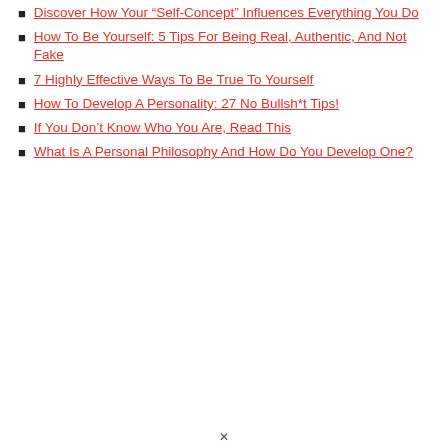Discover How Your “Self-Concept” Influences Everything You Do
How To Be Yourself: 5 Tips For Being Real, Authentic, And Not Fake
7 Highly Effective Ways To Be True To Yourself
How To Develop A Personality: 27 No Bullsh*t Tips!
If You Don’t Know Who You Are, Read This
What Is A Personal Philosophy And How Do You Develop One?